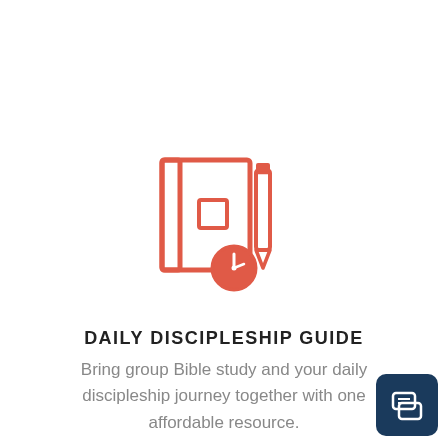[Figure (illustration): Icon of a notebook/journal with a pencil and a clock overlay, drawn in coral/red outline style]
DAILY DISCIPLESHIP GUIDE
Bring group Bible study and your daily discipleship journey together with one affordable resource.